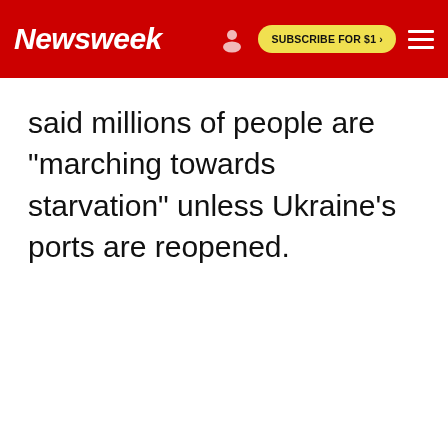Newsweek
said millions of people are "marching towards starvation" unless Ukraine's ports are reopened.